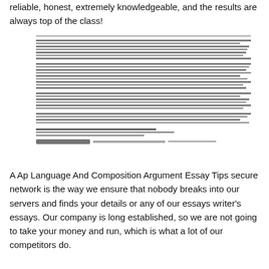reliable, honest, extremely knowledgeable, and the results are always top of the class!
[Figure (other): A blurred/redacted block of dense text, appearing as a scanned document excerpt with illegible content rendered as dark horizontal lines and smeared text.]
A Ap Language And Composition Argument Essay Tips secure network is the way we ensure that nobody breaks into our servers and finds your details or any of our essays writer's essays. Our company is long established, so we are not going to take your money and run, which is what a lot of our competitors do.